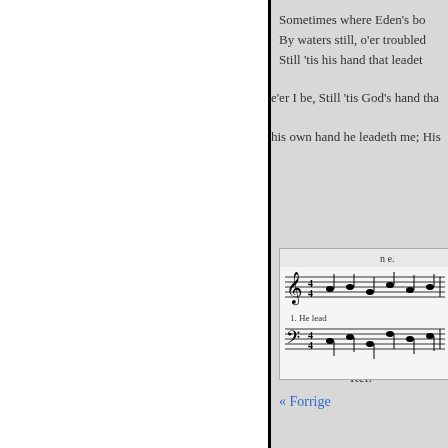Sometimes where Eden's bo
By waters still, o'er trouble
Still 'tis his hand that leadet
e'er I be, Still 'tis God's hand tha
his own hand he leadeth me; His
[Figure (other): Sheet music notation snippet showing musical staff with notes and text '1. He lead']
3 And when my task on ear
When by thy grace the victo
Ev'n death's cold wave I wi
Since God through Jordan l
Ref.
« Forrige